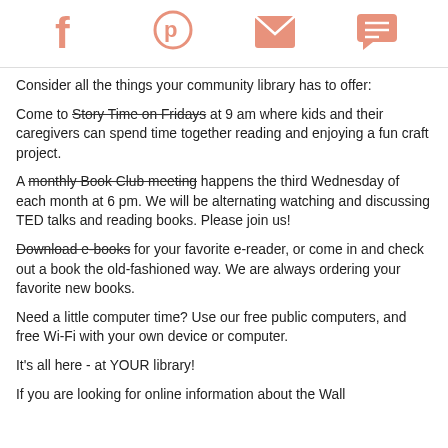[Facebook icon] [Pinterest icon] [Email icon] [Chat icon]
Consider all the things your community library has to offer:
Come to Story Time on Fridays at 9 am where kids and their caregivers can spend time together reading and enjoying a fun craft project.
A monthly Book Club meeting happens the third Wednesday of each month at 6 pm. We will be alternating watching and discussing TED talks and reading books. Please join us!
Download e-books for your favorite e-reader, or come in and check out a book the old-fashioned way. We are always ordering your favorite new books.
Need a little computer time? Use our free public computers, and free Wi-Fi with your own device or computer.
It's all here - at YOUR library!
If you are looking for online information about the Wall